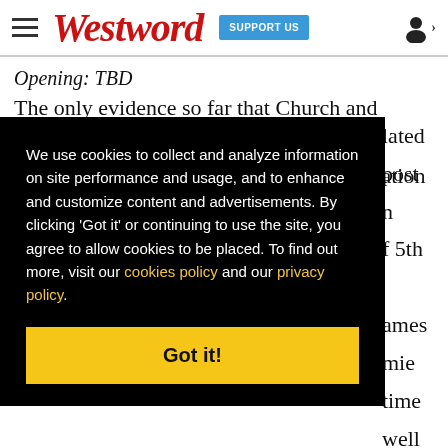Westword — SUPPORT US
Opening: TBD
The only evidence so far that Church and Union
[Figure (other): Cookie consent modal overlay with black background. Text reads: 'We use cookies to collect and analyze information on site performance and usage, and to enhance and customize content and advertisements. By clicking Got it or continuing to use the site, you agree to allow cookies to be placed. To find out more, visit our cookies policy and our privacy policy.' with a yellow Got it! button at the bottom.]
Stars. The team is currently opening a location